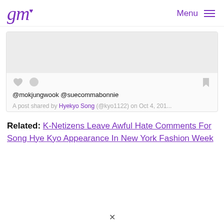gm Menu
[Figure (screenshot): Embedded social media post card with gray image area, heart/comment/bookmark icons, mention text '@mokjungwook @suecommabonnie', and attribution 'A post shared by Hyekyo Song (@kyo1122) on Oct 4, 201...']
Related: K-Netizens Leave Awful Hate Comments For Song Hye Kyo Appearance In New York Fashion Week